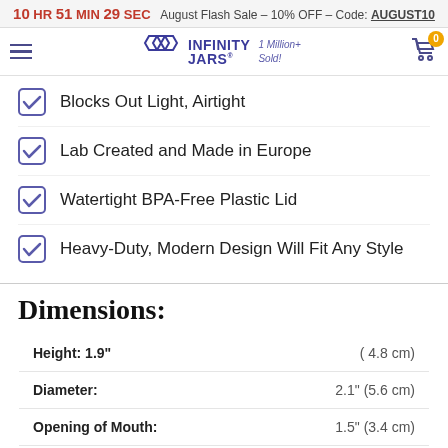10 HR 51 MIN 29 SEC  August Flash Sale - 10% OFF - Code: AUGUST10
[Figure (logo): Infinity Jars logo with hexagon icon, text 'INFINITY JARS' and '1 Million+ Sold!' with navigation hamburger menu and shopping cart icon showing 0 items]
Blocks Out Light, Airtight
Lab Created and Made in Europe
Watertight BPA-Free Plastic Lid
Heavy-Duty, Modern Design Will Fit Any Style
Dimensions:
| Property | Value |
| --- | --- |
| Height: 1.9" | ( 4.8 cm) |
| Diameter: | 2.1" (5.6 cm) |
| Opening of Mouth: | 1.5" (3.4 cm) |
| Capacity: | ... |